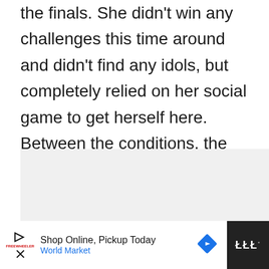the finals. She didn't win any challenges this time around and didn't find any idols, but completely relied on her social game to get herself here. Between the conditions, the paranoia and the lies, it's been the most difficult thing she's done in her life.
[Figure (screenshot): Embedded video player area with share button showing count 0 and a share icon, and a 'What's Next' recommendation showing Mystery Ranch thumbnail with text 'Everything You Need to...']
[Figure (screenshot): Advertisement bar at the bottom: Shop Online, Pickup Today - World Market, with play button, logo, and navigation icon. Dark panel on right with stylized 'W' logo.]